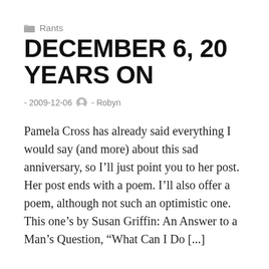Rants
DECEMBER 6, 20 YEARS ON
- 2009-12-06  - Robyn
Pamela Cross has already said everything I would say (and more) about this sad anniversary, so I'll just point you to her post. Her post ends with a poem. I'll also offer a poem, although not such an optimistic one. This one's by Susan Griffin: An Answer to a Man's Question, “What Can I Do [...]